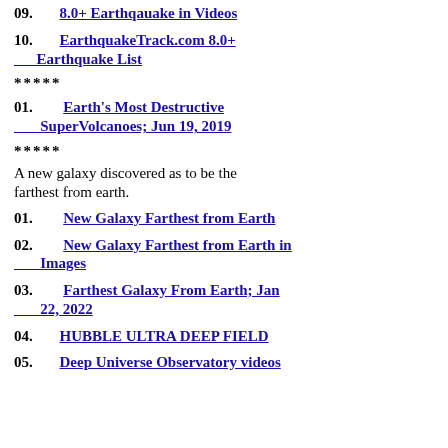09.  8.0+ Earthqauake in Videos
10.  EarthquakeTrack.com 8.0+ Earthquake List
****
01.  Earth's Most Destructive SuperVolcanoes; Jun 19, 2019
****
A new galaxy discovered as to be the farthest from earth.
01.  New Galaxy Farthest from Earth
02.  New Galaxy Farthest from Earth in Images
03.  Farthest Galaxy From Earth; Jan 22, 2022
04.  HUBBLE ULTRA DEEP FIELD
05.  Deep Universe Observatory videos